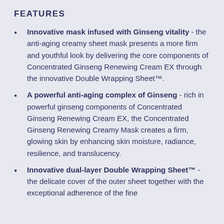FEATURES
Innovative mask infused with Ginseng vitality - the anti-aging creamy sheet mask presents a more firm and youthful look by delivering the core components of Concentrated Ginseng Renewing Cream EX through the innovative Double Wrapping Sheet™.
A powerful anti-aging complex of Ginseng - rich in powerful ginseng components of Concentrated Ginseng Renewing Cream EX, the Concentrated Ginseng Renewing Creamy Mask creates a firm, glowing skin by enhancing skin moisture, radiance, resilience, and translucency.
Innovative dual-layer Double Wrapping Sheet™ - the delicate cover of the outer sheet together with the exceptional adherence of the fine